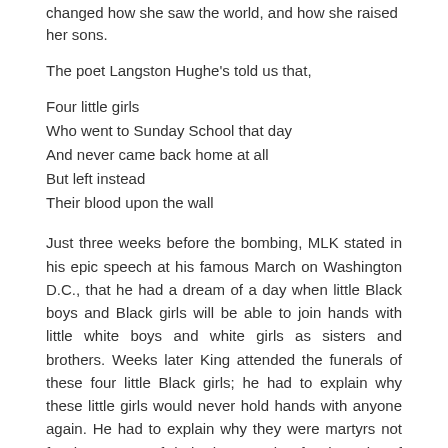changed how she saw the world, and how she raised her sons.
The poet Langston Hughe's told us that,
Four little girls
Who went to Sunday School that day
And never came back home at all
But left instead
Their blood upon the wall
Just three weeks before the bombing, MLK stated in his epic speech at his famous March on Washington D.C., that he had a dream of a day when little Black boys and Black girls will be able to join hands with little white boys and white girls as sisters and brothers. Weeks later King attended the funerals of these four little Black girls; he had to explain why these little girls would never hold hands with anyone again. He had to explain why they were martyrs not for the content of their character but for the color of their skin.
[Figure (other): Social media buttons: Facebook Like button showing count 0, and Twitter Tweet button]